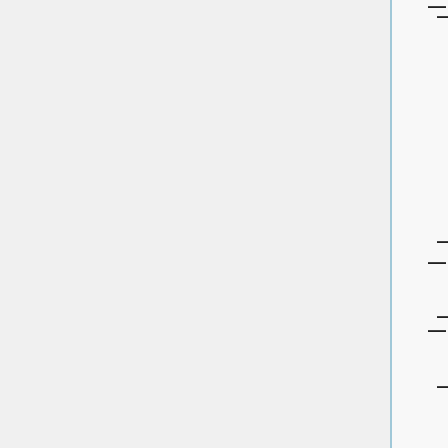| stat (W1) <!-- Nonparametric Statistics and Dynamic Risk Management -->
| Jul 26, 2012
|
|- valign=top
| HU Berlin
| pure (W3) <!-- Reine Mathematik, insbesondere Mathematische Logik, mit möglicher Fachausprägung in der Algebraischen Geometrie,